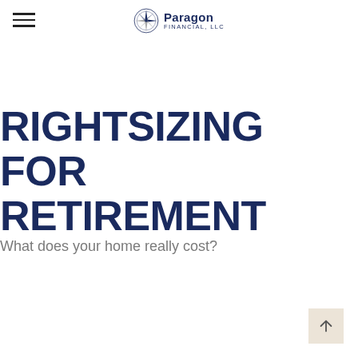Paragon Financial, LLC
RIGHTSIZING FOR RETIREMENT
What does your home really cost?